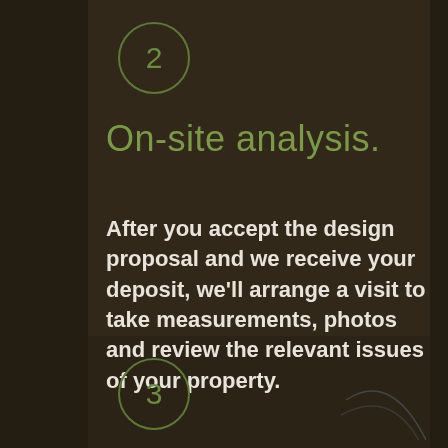2
On-site analysis.
After you accept the design proposal and we receive your deposit, we'll arrange a visit to take measurements, photos and review the relevant issues of your property.
3